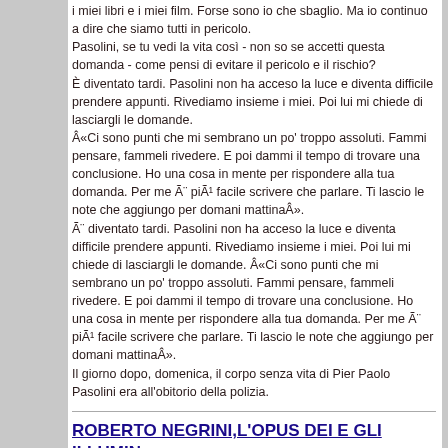i miei libri e i miei film. Forse sono io che sbaglio. Ma io continuo a dire che siamo tutti in pericolo.
Pasolini, se tu vedi la vita così - non so se accetti questa domanda - come pensi di evitare il pericolo e il rischio?
È diventato tardi. Pasolini non ha acceso la luce e diventa difficile prendere appunti. Rivediamo insieme i miei. Poi lui mi chiede di lasciargli le domande.
«Ci sono punti che mi sembrano un po' troppo assoluti. Fammi pensare, fammeli rivedere. E poi dammi il tempo di trovare una conclusione. Ho una cosa in mente per rispondere alla tua domanda. Per me è più facile scrivere che parlare. Ti lascio le note che aggiungo per domani mattina».
È diventato tardi. Pasolini non ha acceso la luce e diventa difficile prendere appunti. Rivediamo insieme i miei. Poi lui mi chiede di lasciargli le domande. «Ci sono punti che mi sembrano un po' troppo assoluti. Fammi pensare, fammeli rivedere. E poi dammi il tempo di trovare una conclusione. Ho una cosa in mente per rispondere alla tua domanda. Per me è più facile scrivere che parlare. Ti lascio le note che aggiungo per domani mattina».
Il giorno dopo, domenica, il corpo senza vita di Pier Paolo Pasolini era all'obitorio della polizia.
ROBERTO NEGRINI,L'OPUS DEI E GLI ILLUMIN... (10/26/2006)
[Figure (other): ShowLetter.jpg image placeholder]
Roberto Negrini